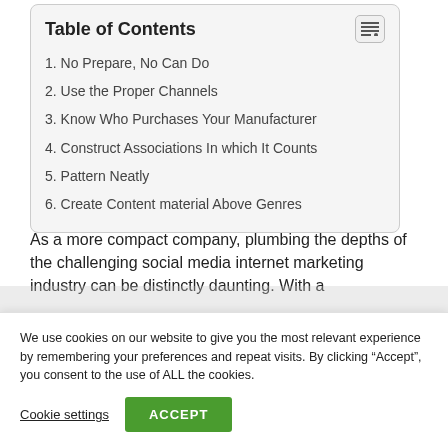Table of Contents
1. No Prepare, No Can Do
2. Use the Proper Channels
3. Know Who Purchases Your Manufacturer
4. Construct Associations In which It Counts
5. Pattern Neatly
6. Create Content material Above Genres
As a more compact company, plumbing the depths of the challenging social media internet marketing industry can be distinctly daunting. With a
We use cookies on our website to give you the most relevant experience by remembering your preferences and repeat visits. By clicking “Accept”, you consent to the use of ALL the cookies.
Cookie settings
ACCEPT